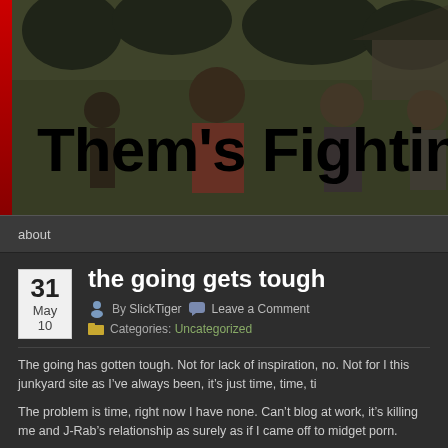[Figure (photo): Blog header banner showing people fighting or wrestling outdoors, with a black bold title overlay reading "Them's Fightin' W" (truncated). A red vertical bar on the left edge.]
about
the going gets tough
By SlickTiger   Leave a Comment
Categories: Uncategorized
The going has gotten tough. Not for lack of inspiration, no. Not for this junkyard site as Iâ€™ve always been, itâ€™s just time, time, ti
The problem is time, right now I have none. Canâ€™t blog at work, itâ€™s killing me and J-Rabâ€™s relationship as surely as if I came off to midget porn.
So yeah, for the time being Iâ€™ll be posting less, Iâ€™ve e